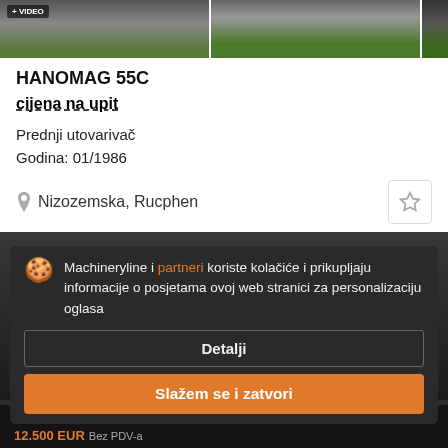[Figure (screenshot): Image strip showing machinery photos with a video badge on first image]
HANOMAG 55C
cijena na upit
Prednji utovarivač
Godina: 01/1986
Nizozemska, Rucphen
[Figure (screenshot): Cookie consent modal overlay on dark machinery listing background. Modal contains cookie icon, text 'Machineryline i partneri koriste kolačiće i prikupljaju informacije o posjetama ovoj web stranici za personalizaciju oglasa', a 'Detalji' button, and 'Slažem se i zatvori' orange button.]
Machineryline i partneri koriste kolačiće i prikupljaju informacije o posjetama ovoj web stranici za personalizaciju oglasa
Detalji
Slažem se i zatvori
12.500 EUR  Bez PDV-a